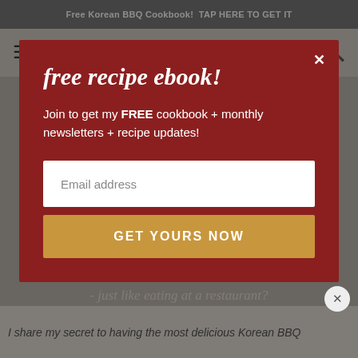Free Korean BBQ Cookbook!  TAP HERE TO GET IT
[Figure (logo): Kimchimari logo with bowl/chopsticks icon and script text]
free recipe ebook!
Join to get my FREE cookbook + monthly newsletters + recipe updates!
Email address
GET YOURS NOW
- just like eating at a restaurant?
I share my secret to having the most delicious Korean BBQ